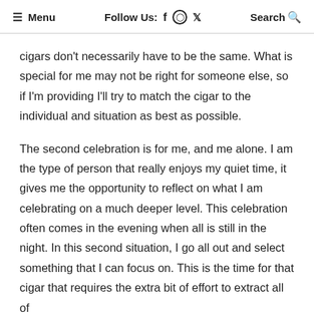≡ Menu   Follow Us: f  ⊙  𝕏   Search 🔍
cigars don't necessarily have to be the same. What is special for me may not be right for someone else, so if I'm providing I'll try to match the cigar to the individual and situation as best as possible.
The second celebration is for me, and me alone. I am the type of person that really enjoys my quiet time, it gives me the opportunity to reflect on what I am celebrating on a much deeper level. This celebration often comes in the evening when all is still in the night. In this second situation, I go all out and select something that I can focus on. This is the time for that cigar that requires the extra bit of effort to extract all of